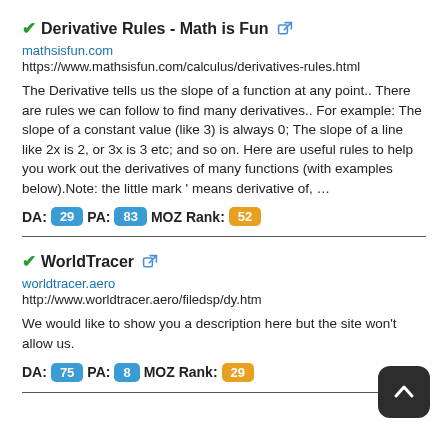Derivative Rules - Math is Fun
mathsisfun.com
https://www.mathsisfun.com/calculus/derivatives-rules.html
The Derivative tells us the slope of a function at any point.. There are rules we can follow to find many derivatives.. For example: The slope of a constant value (like 3) is always 0; The slope of a line like 2x is 2, or 3x is 3 etc; and so on. Here are useful rules to help you work out the derivatives of many functions (with examples below).Note: the little mark ' means derivative of, …
DA: 29  PA: 83  MOZ Rank: 52
WorldTracer
worldtracer.aero
http://www.worldtracer.aero/filedsp/dy.htm
We would like to show you a description here but the site won't allow us.
DA: 75  PA: 8  MOZ Rank: 29